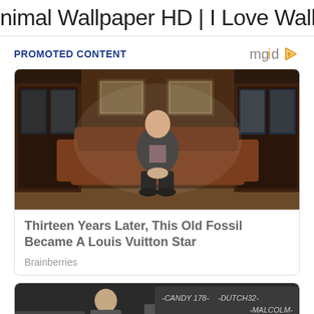nimal Wallpaper HD | I Love Wallpap
PROMOTED CONTENT
[Figure (photo): Elderly man in dark suit sitting on a brown leather sofa in a wood-paneled library room with bookshelves and framed paintings on the wall]
Thirteen Years Later, This Old Fossil Became A Louis Vuitton Star
Brainberries
[Figure (photo): Partial view of a promotional or editorial photo with graffiti text reading -CANDY 178- -DUTCH32- -MALCOLM- in the background, with a person visible]